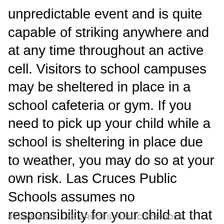unpredictable event and is quite capable of striking anywhere and at any time throughout an active cell. Visitors to school campuses may be sheltered in place in a school cafeteria or gym. If you need to pick up your child while a school is sheltering in place due to weather, you may do so at your own risk. Las Cruces Public Schools assumes no responsibility for your child at that point. Please expect delays as it takes time to call each child out of class individually or in small groups. Please click the link to find the lightning safety protocols for LCPS: https://www.lcps.net/page/safety-tips. To receive important alerts and information from your schools, please download the LCPS app today! Download the app on Android: https://bit.ly/3z1L88X or iPhone: https://apple.co/3BYAOAh.
8 DAYS AGO  LAS CRUCES PUBLIC SCHOOLS